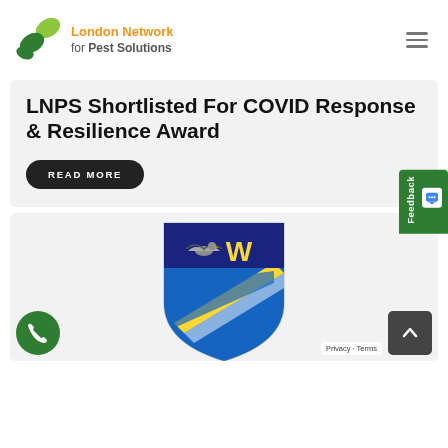[Figure (logo): London Network for Pest Solutions logo with green leaf icons and orange/grey text]
LNPS Shortlisted For COVID Response & Resilience Award
READ MORE
[Figure (illustration): Shield/crest logo with bird and W letter, blue and yellow diagonal stripes, with phone button and back-to-top button overlay]